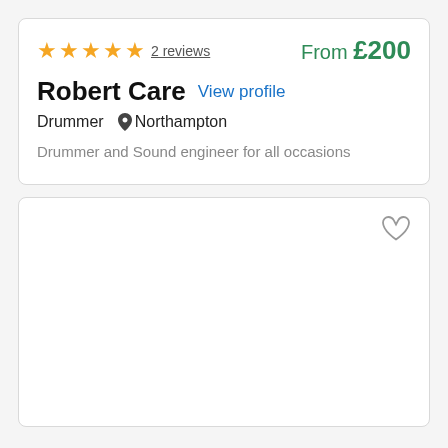★★★★★ 2 reviews   From £200
Robert Care
View profile
Drummer  📍 Northampton
Drummer and Sound engineer for all occasions
[Figure (illustration): Empty card with a heart/favourite icon in the top right corner]